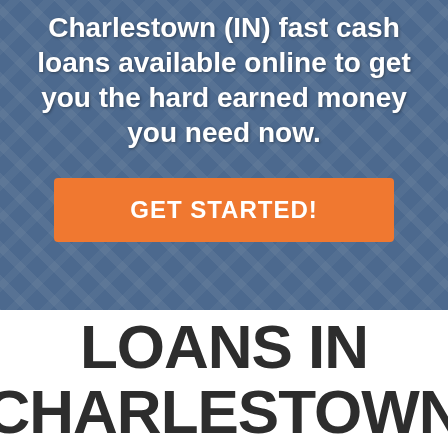[Figure (photo): Background photo of a man in a blue and white plaid/checkered shirt, overlaid with a semi-transparent blue tint. Contains overlaid headline text and a call-to-action button.]
Charlestown (IN) fast cash loans available online to get you the hard earned money you need now.
GET STARTED!
LOANS IN CHARLESTOWN